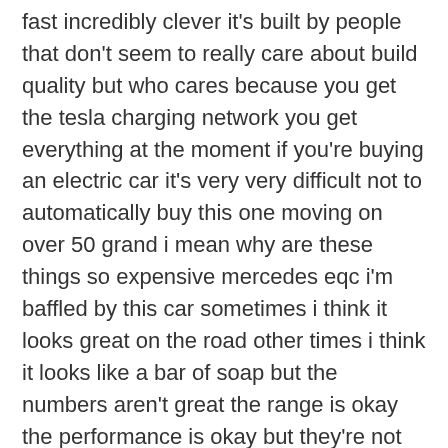fast incredibly clever it's built by people that don't seem to really care about build quality but who cares because you get the tesla charging network you get everything at the moment if you're buying an electric car it's very very difficult not to automatically buy this one moving on over 50 grand i mean why are these things so expensive mercedes eqc i'm baffled by this car sometimes i think it looks great on the road other times i think it looks like a bar of soap but the numbers aren't great the range is okay the performance is okay but they're not selling very well and they are expensive very quiet and refined though this is the volvo xc40 with lots of other names on the back of it that make it sound too complicated but what you need to know is this the pole star is the one that looks better and it's better to drive so i don't know why you'd buy this one even though it's more money the audi e-tron now it is a better car probably all-round than the mercedes eqc but it's still one of those weird suv things